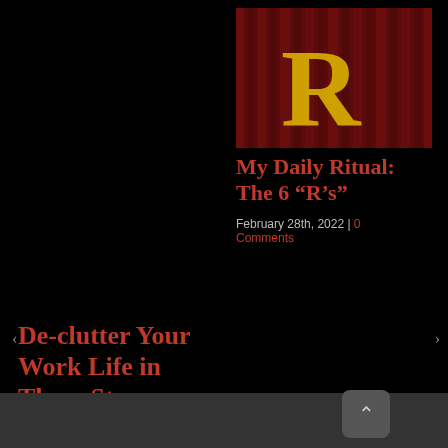[Figure (illustration): Thumbnail image on the right column: a large yellow letter R on a dark red curtained background]
De-clutter Your Work Life in Three Steps
June 8th, 2022 | 0 Comments
My Daily Ritual: The 6 “R’s”
February 28th, 2022 | 0 Comments